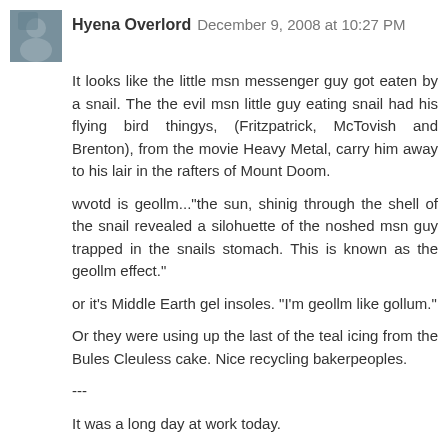Hyena Overlord  December 9, 2008 at 10:27 PM
It looks like the little msn messenger guy got eaten by a snail. The the evil msn little guy eating snail had his flying bird thingys, (Fritzpatrick, McTovish and Brenton), from the movie Heavy Metal, carry him away to his lair in the rafters of Mount Doom.
wvotd is geollm..."the sun, shinig through the shell of the snail revealed a silohuette of the noshed msn guy trapped in the snails stomach. This is known as the geollm effect."
or it's Middle Earth gel insoles. "I'm geollm like gollum."
Or they were using up the last of the teal icing from the Bules Cleuless cake. Nice recycling bakerpeoples.
---
It was a long day at work today.
Reply